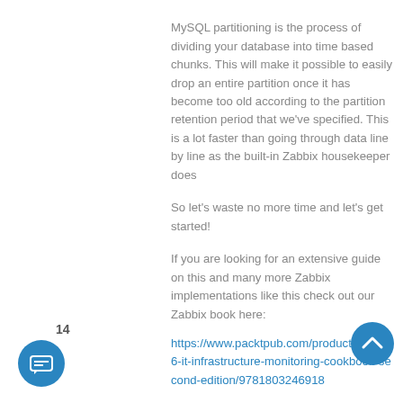MySQL partitioning is the process of dividing your database into time based chunks. This will make it possible to easily drop an entire partition once it has become too old according to the partition retention period that we've specified. This is a lot faster than going through data line by line as the built-in Zabbix housekeeper does
So let's waste no more time and let's get started!
If you are looking for an extensive guide on this and many more Zabbix implementations like this check out our Zabbix book here:
https://www.packtpub.com/product/zabbix-6-it-infrastructure-monitoring-cookbook-second-edition/9781803246918
https://www.amazon.com/Zabbix-Infrastructure-Monitoring-Cookbook-
14